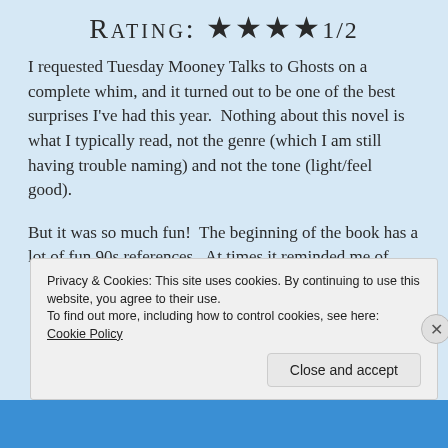Rating: ★★★★1/2
I requested Tuesday Mooney Talks to Ghosts on a complete whim, and it turned out to be one of the best surprises I've had this year.  Nothing about this novel is what I typically read, not the genre (which I am still having trouble naming) and not the tone (light/feel good).
But it was so much fun!  The beginning of the book has a lot of fun 90s references.  At times it reminded me of
Privacy & Cookies: This site uses cookies. By continuing to use this website, you agree to their use.
To find out more, including how to control cookies, see here: Cookie Policy
Close and accept